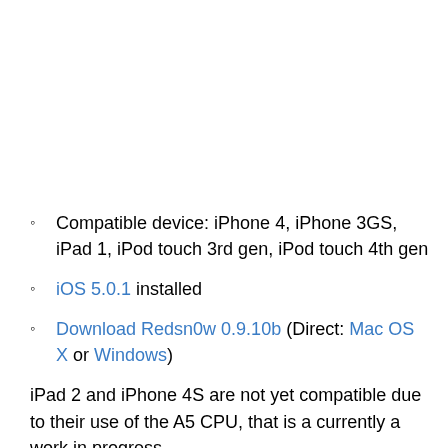Compatible device: iPhone 4, iPhone 3GS, iPad 1, iPod touch 3rd gen, iPod touch 4th gen
iOS 5.0.1 installed
Download Redsn0w 0.9.10b (Direct: Mac OS X or Windows)
iPad 2 and iPhone 4S are not yet compatible due to their use of the A5 CPU, that is a currently a work in progress.
How to Jailbreak iOS 5.0.1 Untethered Using